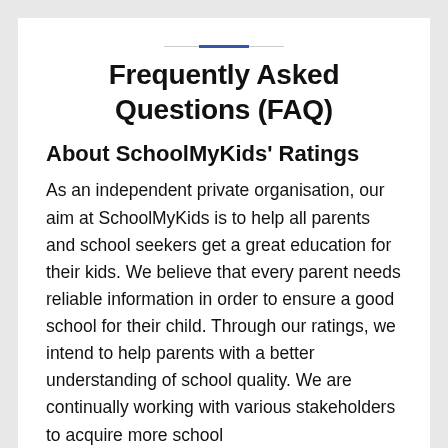Frequently Asked Questions (FAQ)
About SchoolMyKids' Ratings
As an independent private organisation, our aim at SchoolMyKids is to help all parents and school seekers get a great education for their kids. We believe that every parent needs reliable information in order to ensure a good school for their child. Through our ratings, we intend to help parents with a better understanding of school quality. We are continually working with various stakeholders to acquire more school